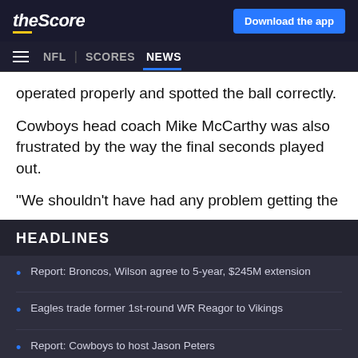theScore | Download the app | NFL | SCORES | NEWS
operated properly and spotted the ball correctly.
Cowboys head coach Mike McCarthy was also frustrated by the way the final seconds played out.
"We shouldn't have had any problem getting the ball
HEADLINES
Report: Broncos, Wilson agree to 5-year, $245M extension
Eagles trade former 1st-round WR Reagor to Vikings
Report: Cowboys to host Jason Peters
Panthers' Mayfield denies making remark about Browns
Fantasy Podcast: Preseason risers and fallers, cut-down